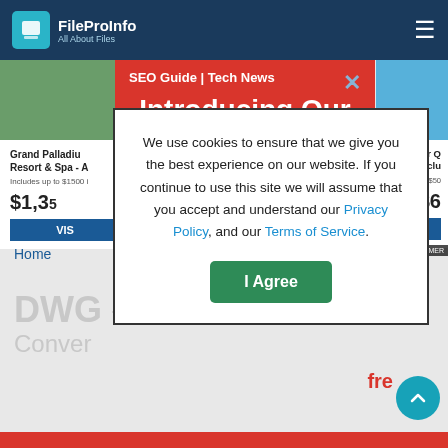FileProInfo — All About Files
[Figure (screenshot): Website header with FileProInfo logo and navigation hamburger menu on dark navy background]
[Figure (screenshot): Red promotional banner overlay reading 'SEO Guide | Tech News — Introducing Our Other Free' with close button]
[Figure (screenshot): Hotel cards for Grand Palladium Resort & Spa and Iberostar showing prices $1,35x and $6xx with VIS buttons]
Home
DWG to ... Conver... free
We use cookies to ensure that we give you the best experience on our website. If you continue to use this site we will assume that you accept and understand our Privacy Policy, and our Terms of Service.